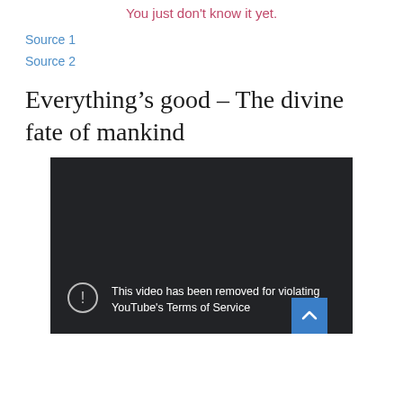You just don't know it yet.
Source 1
Source 2
Everything’s good – The divine fate of mankind
[Figure (screenshot): Embedded video player showing a dark background with a removed video notice: 'This video has been removed for violating YouTube's Terms of Service', with a circular exclamation icon. A blue scroll-up button is visible in the bottom right corner.]